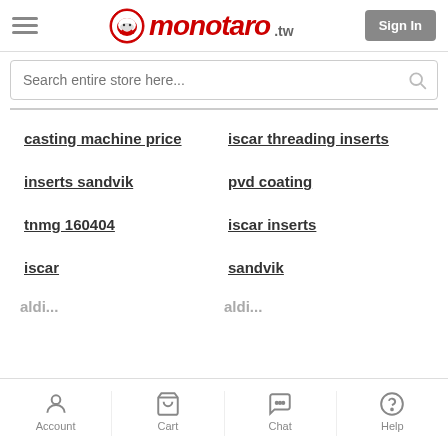monotaro.tw — Sign In
Search entire store here...
casting machine price
iscar threading inserts
inserts sandvik
pvd coating
tnmg 160404
iscar inserts
iscar
sandvik
Account  Cart  Chat  Help